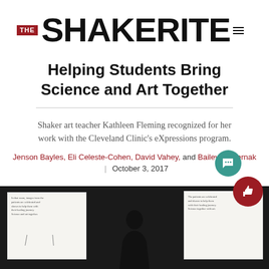THE SHAKERITE
Helping Students Bring Science and Art Together
Shaker art teacher Kathleen Fleming recognized for her work with the Cleveland Clinic's eXpressions program.
Jenson Bayles, Eli Celeste-Cohen, David Vahey, and Bailey Pasternak | October 3, 2017
[Figure (photo): Photo of student artwork displayed on dark background, showing white paper with small text and decorative elements; a person's silhouette visible in center]